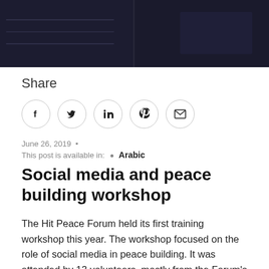[Figure (photo): Dark photograph strip showing a dimly lit room, split vertically into two panels, with faint horizontal lines visible on the left panel.]
Share
[Figure (infographic): Row of five circular social share icons: Facebook, Twitter, LinkedIn, Pinterest, Email]
June 26, 2019  •
This post is available in:  •  Arabic
Social media and peace building workshop
The Hit Peace Forum held its first training workshop this year. The workshop focused on the role of social media in peace building. It was attended by 13 volunteers, mostly from the Forum's media team. The workshop was held in the city of Hit on Friday 7 June